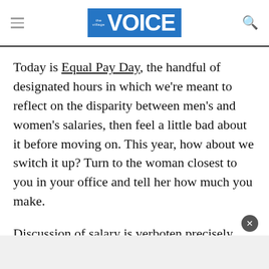the village VOICE
Today is Equal Pay Day, the handful of designated hours in which we're meant to reflect on the disparity between men's and women's salaries, then feel a little bad about it before moving on. This year, how about we switch it up? Turn to the woman closest to you in your office and tell her how much you make.
Discussion of salary is verboten precisely because